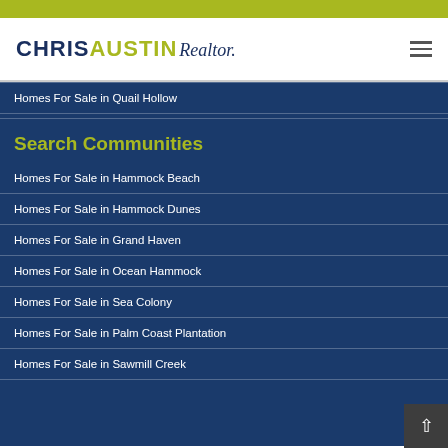Chris Austin Realtor — navigation header with hamburger menu
Homes For Sale in Quail Hollow
Search Communities
Homes For Sale in Hammock Beach
Homes For Sale in Hammock Dunes
Homes For Sale in Grand Haven
Homes For Sale in Ocean Hammock
Homes For Sale in Sea Colony
Homes For Sale in Palm Coast Plantation
Homes For Sale in Sawmill Creek